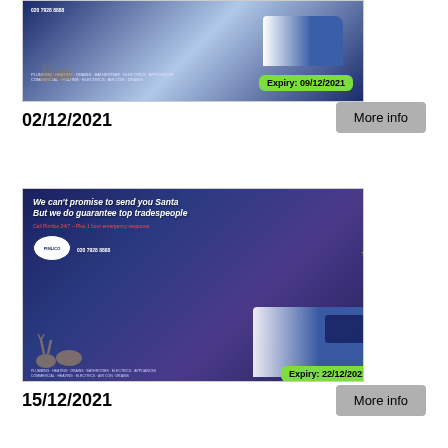[Figure (photo): Pimlico Plumbers Christmas advertisement showing a branded van, reindeer in snow, and Expiry: 09/12/2021 green badge]
02/12/2021
More info
[Figure (photo): Pimlico Plumbers Christmas advertisement with headline 'We can't promise to send you Santa But we do guarantee top tradespeople', branded van with Santa, reindeer in snow, and Expiry: 22/12/2021 green badge]
15/12/2021
More info